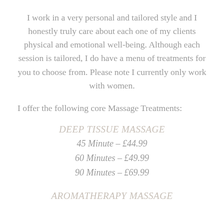I work in a very personal and tailored style and I honestly truly care about each one of my clients physical and emotional well-being. Although each session is tailored, I do have a menu of treatments for you to choose from. Please note I currently only work with women.
I offer the following core Massage Treatments:
DEEP TISSUE MASSAGE
45 Minute – £44.99
60 Minutes – £49.99
90 Minutes – £69.99
AROMATHERAPY MASSAGE